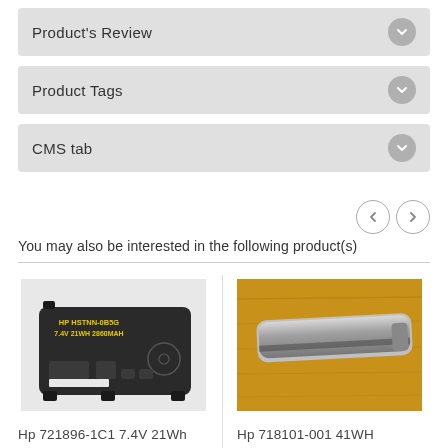Product's Review
Product Tags
CMS tab
You may also be interested in the following product(s)
[Figure (photo): HP laptop battery, black rectangular pack, labeled HP HSTNN-DB5G 7.4V 21WH 2860MAH]
Hp 721896-1C1 7.4V 21Wh Replacement Laptop Battery
[Figure (photo): HP laptop battery, slim cylindrical silver/black bar on wooden surface]
Hp 718101-001 41WH Replacement Laptop Battery